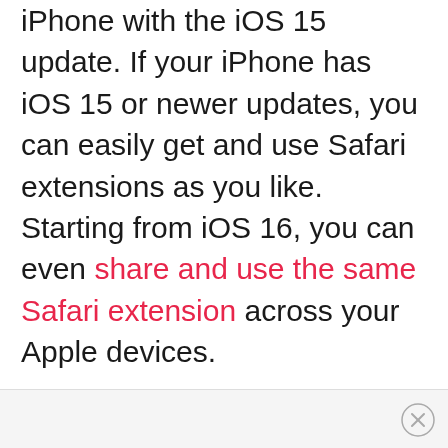iPhone with the iOS 15 update. If your iPhone has iOS 15 or newer updates, you can easily get and use Safari extensions as you like. Starting from iOS 16, you can even share and use the same Safari extension across your Apple devices.